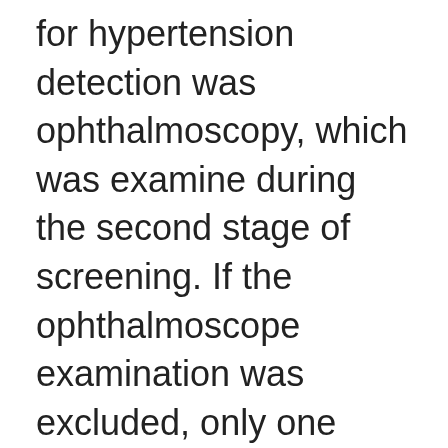for hypertension detection was ophthalmoscopy, which was examine during the second stage of screening. If the ophthalmoscope examination was excluded, only one person was not detected, which was 0.2% of detected persons, and the cost per patient detected decreased to Won 28,098. The most efficient